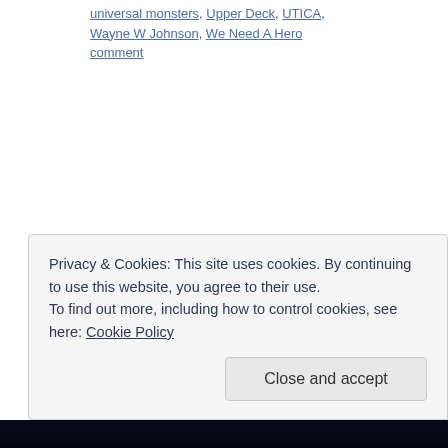universal monsters, Upper Deck, UTICA, Wayne W Johnson, We Need A Hero comment
Privacy & Cookies: This site uses cookies. By continuing to use this website, you agree to their use.
To find out more, including how to control cookies, see here: Cookie Policy
Close and accept